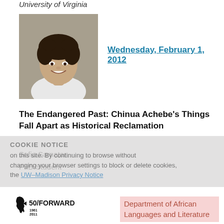University of Virginia
[Figure (photo): Black and white portrait photo of a woman with curly hair, smiling, wearing a white top]
Wednesday, February 1, 2012
The Endangered Past: Chinua Achebe's Things Fall Apart as Historical Reclamation
Sofia Samatar
PhD Student
COOKIE NOTICE
on this site. By continuing to browse without changing your browser settings to block or delete cookies, the UW–Madison Privacy Notice
[Figure (logo): 50/FORWARD 1961–2011 logo with Africa silhouette]
Department of African Languages and Literature